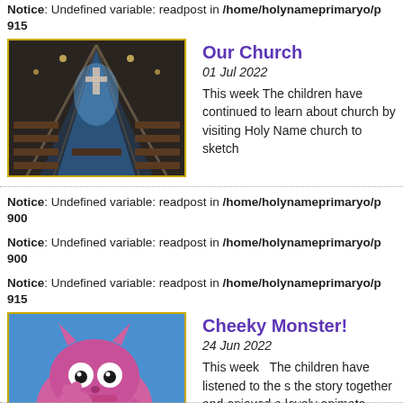Notice: Undefined variable: readpost in /home/holynameprimaryo/p 915
[Figure (photo): Interior of a church with pews, arched ceiling, and altar lit in blue light]
Our Church
01 Jul 2022
This week The children have continued to learn about church by visiting Holy Name church to sketch
Notice: Undefined variable: readpost in /home/holynameprimaryo/p 900
Notice: Undefined variable: readpost in /home/holynameprimaryo/p 900
Notice: Undefined variable: readpost in /home/holynameprimaryo/p 915
[Figure (illustration): Cartoon illustration of a pink monster character against a blue background]
Cheeky Monster!
24 Jun 2022
This week  The children have listened to the s the story together and enjoyed a lovely animato